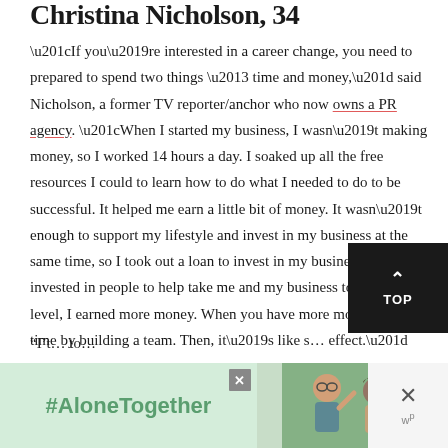Christina Nicholson, 34
“If you’re interested in a career change, you need to prepared to spend two things – time and money,” said Nicholson, a former TV reporter/anchor who now owns a PR agency. “When I started my business, I wasn’t making money, so I worked 14 hours a day. I soaked up all the free resources I could to learn how to do what I needed to do to be successful. It helped me earn a little bit of money. It wasn’t enough to support my lifestyle and invest in my business at the same time, so I took out a loan to invest in my business. When I invested in people to help take me and my business to the next level, I earned more money. When you have more money, you can buy time by building a team. Then, it’s like snowball effect.”
[Figure (other): #AloneTogether advertisement banner with people waving]